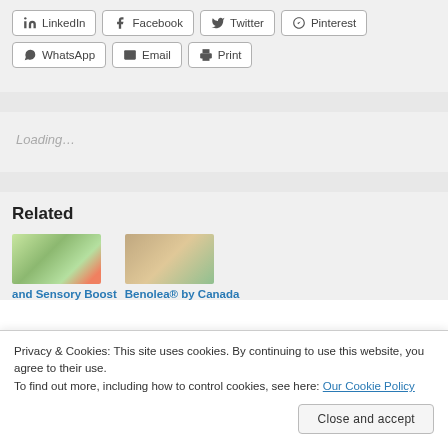LinkedIn
Facebook
Twitter
Pinterest
WhatsApp
Email
Print
Loading…
Related
[Figure (photo): Two related article thumbnail images — left: herbs/flowers, right: wooden surface with plant]
and Sensory Boost
Benolea® by Canada
Privacy & Cookies: This site uses cookies. By continuing to use this website, you agree to their use. To find out more, including how to control cookies, see here: Our Cookie Policy
Close and accept